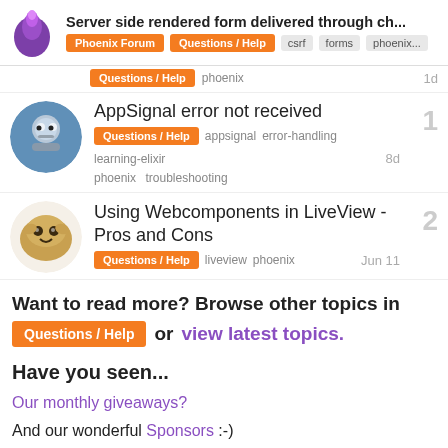Server side rendered form delivered through ch... | Phoenix Forum | Questions / Help | csrf | forms | phoenix...
Questions / Help  phoenix  1d
AppSignal error not received
Questions / Help  appsignal  error-handling  learning-elixir  8d  phoenix  troubleshooting
Using Webcomponents in LiveView - Pros and Cons
Questions / Help  liveview  phoenix  Jun 11
Want to read more? Browse other topics in Questions / Help or view latest topics.
Have you seen...
Our monthly giveaways?
And our wonderful Sponsors :-)